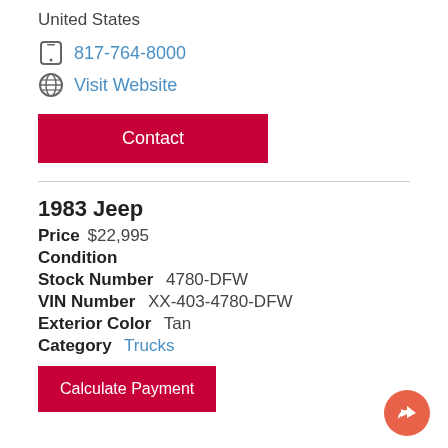United States
817-764-8000
Visit Website
Contact
1983 Jeep
Price  $22,995
Condition
Stock Number  4780-DFW
VIN Number  XX-403-4780-DFW
Exterior Color  Tan
Category  Trucks
Calculate Payment